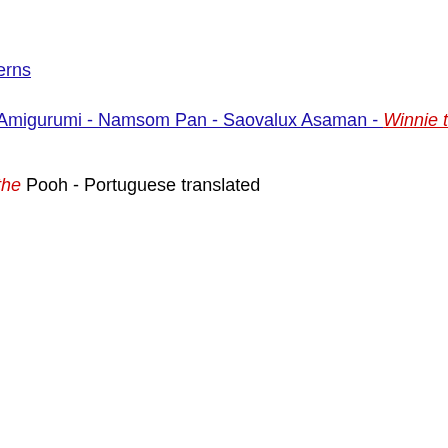erns
Amigurumi - Namsom Pan - Saovalux Asaman - Winnie the Pooh
the Pooh - Portuguese translated